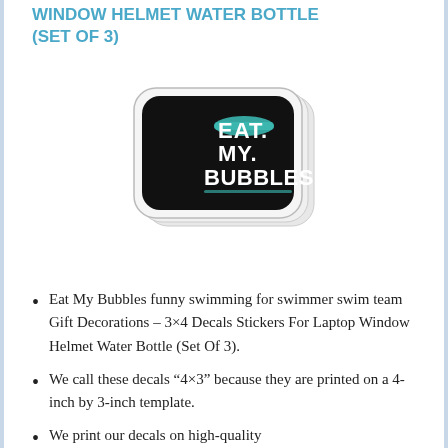WINDOW HELMET WATER BOTTLE (SET OF 3)
[Figure (photo): Product photo of 'Eat My Bubbles' swimming sticker decals — black sticker with teal and white text reading EAT. MY. BUBBLES. with a swimmer graphic, shown as a set of stickers stacked slightly offset]
Eat My Bubbles funny swimming for swimmer swim team Gift Decorations – 3×4 Decals Stickers For Laptop Window Helmet Water Bottle (Set Of 3).
We call these decals “4×3” because they are printed on a 4-inch by 3-inch template.
We print our decals on high-quality